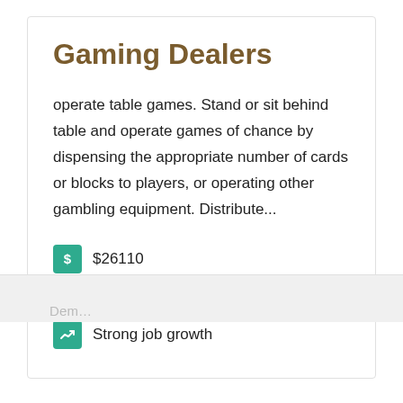Gaming Dealers
operate table games. Stand or sit behind table and operate games of chance by dispensing the appropriate number of cards or blocks to players, or operating other gambling equipment. Distribute...
$26110
No degree required
Strong job growth